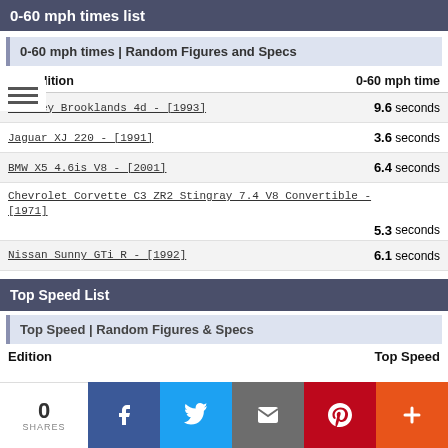0-60 mph times list
0-60 mph times | Random Figures and Specs
| Edition | 0-60 mph time |
| --- | --- |
| Bentley Brooklands 4d - [1993] | 9.6 seconds |
| Jaguar XJ 220 - [1991] | 3.6 seconds |
| BMW X5 4.6is V8 - [2001] | 6.4 seconds |
| Chevrolet Corvette C3 ZR2 Stingray 7.4 V8 Convertible - [1971] | 5.3 seconds |
| Nissan Sunny GTi R - [1992] | 6.1 seconds |
Top Speed List
Top Speed | Random Figures & Specs
Edition   Top Speed